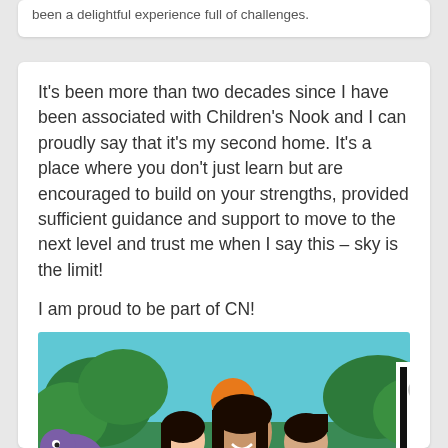been a delightful experience full of challenges.
It's been more than two decades since I have been associated with Children's Nook and I can proudly say that it's my second home. It's a place where you don't just learn but are encouraged to build on your strengths, provided sufficient guidance and support to move to the next level and trust me when I say this – sky is the limit!
I am proud to be part of CN!
[Figure (photo): A woman smiling with two young children in front of a colorful jungle-themed mural with cartoon animals including a purple elephant and zebra]